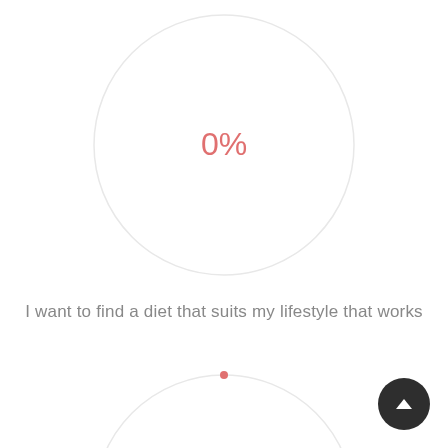[Figure (donut-chart): Top donut chart]
I want to find a diet that suits my lifestyle that works
[Figure (donut-chart): Bottom donut chart]